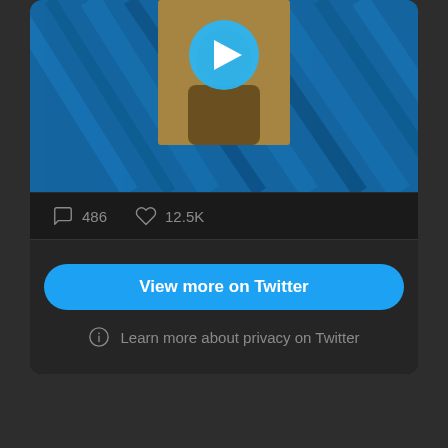[Figure (screenshot): Twitter embedded tweet with video thumbnail showing a blue streaked background and person in hoodie, with a play button overlay]
486
12.5K
View more on Twitter
Learn more about privacy on Twitter